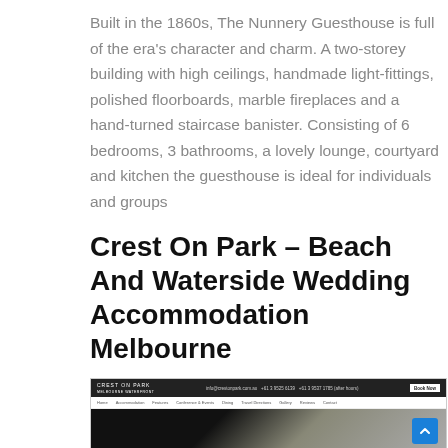Built in the 1860s, The Nunnery Guesthouse is full of the era's character and charm. A two-storey building with high ceilings, handmade light-fittings, polished floorboards, marble fireplaces and a hand-turned staircase banister. Consisting of 6 bedrooms, 3 bathrooms, a lovely lounge, courtyard and kitchen the guesthouse is ideal for individuals and groups
Crest On Park – Beach And Waterside Wedding Accommodation Melbourne
[Figure (screenshot): Screenshot of the Crest On Park website showing the top navigation bar with logo, contact info, Book Now button, navigation links, and a dark bedroom image below]